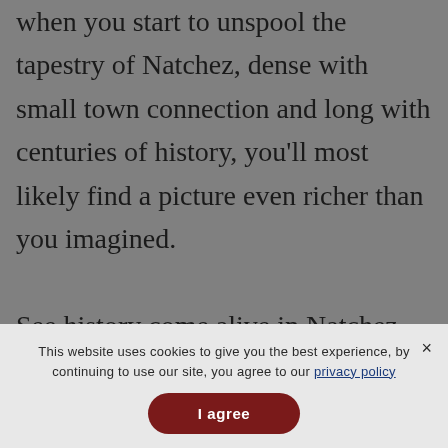when you start to unspool the tapestry of Natchez, dense with small town connection and long with centuries of history, you'll most likely find a picture even richer than you imagined.

See history come alive in Natchez this spring! Find out more at
This website uses cookies to give you the best experience, by continuing to use our site, you agree to our privacy policy
I agree